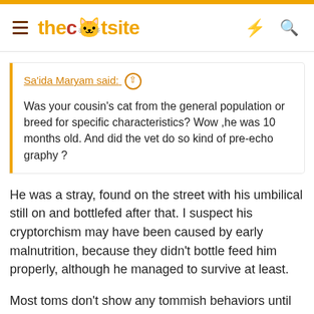thecatsite
Sa'ida Maryam said: ↑

Was your cousin's cat from the general population or breed for specific characteristics? Wow ,he was 10 months old. And did the vet do so kind of pre-echo graphy ?
He was a stray, found on the street with his umbilical still on and bottlefed after that. I suspect his cryptorchism may have been caused by early malnutrition, because they didn't bottle feed him properly, although he managed to survive at least.
Most toms don't show any tommish behaviors until 9-10 months, of course some are early bloomers and some are late bloomers but I'd say that's average.